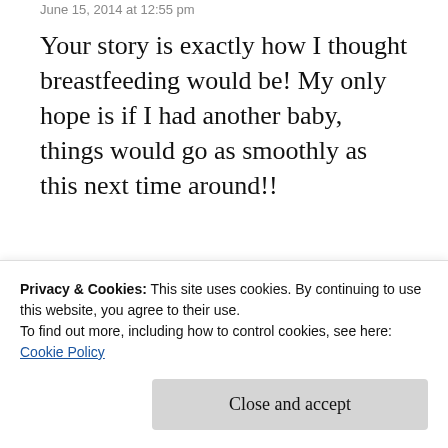June 15, 2014 at 12:55 pm
Your story is exactly how I thought breastfeeding would be! My only hope is if I had another baby, things would go as smoothly as this next time around!!
#BFingDiaries
★ Like
Reply
Privacy & Cookies: This site uses cookies. By continuing to use this website, you agree to their use.
To find out more, including how to control cookies, see here:
Cookie Policy
Close and accept